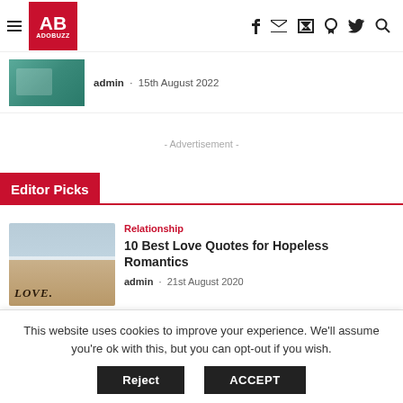AB ADOBUZZ
admin · 15th August 2022
- Advertisement -
Editor Picks
Relationship
10 Best Love Quotes for Hopeless Romantics
admin · 21st August 2020
This website uses cookies to improve your experience. We'll assume you're ok with this, but you can opt-out if you wish.